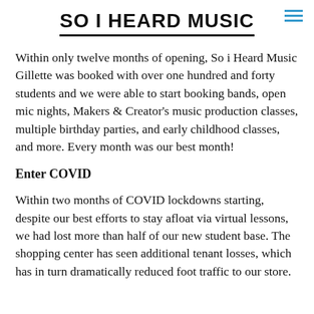SO i HEARD MUSIC
Within only twelve months of opening, So i Heard Music Gillette was booked with over one hundred and forty students and we were able to start booking bands, open mic nights, Makers & Creator's music production classes, multiple birthday parties, and early childhood classes, and more. Every month was our best month!
Enter COVID
Within two months of COVID lockdowns starting, despite our best efforts to stay afloat via virtual lessons, we had lost more than half of our new student base. The shopping center has seen additional tenant losses, which has in turn dramatically reduced foot traffic to our store.